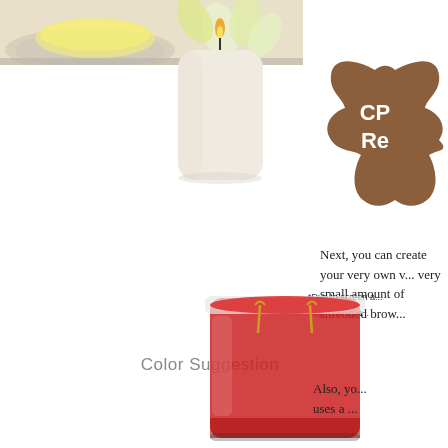[Figure (photo): Top portion showing a plate with yellow/cream colored food item and flower, partially visible at top left. On the right, a brown cookie/gingerbread man shape with white text 'CP Re' partially visible, and footnote text '*Due to screen a... might be light...']
[Figure (photo): A cream/ivory colored pillar candle with a lit flame, viewed from the front]
Color Suggestion
Next, you can create your very own v... very small amount of shredded brow...
[Figure (photo): A glass jar candle with red wax and two visible wicks, partially visible at bottom center]
Also, yo... uses a ...